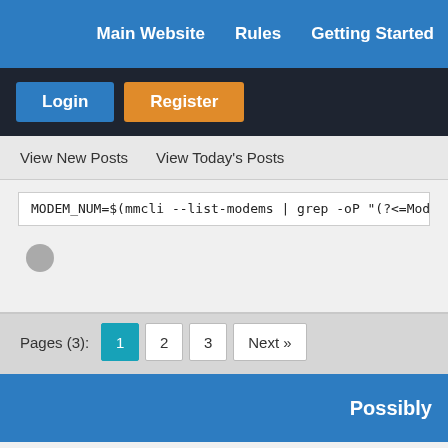Main Website   Rules   Getting Started
Login   Register
View New Posts   View Today's Posts
MODEM_NUM=$(mmcli --list-modems | grep -oP "(?<=Mode
[Figure (other): Grey circle avatar placeholder]
Pages (3): 1  2  3  Next »
Possibly
| Thread |
| --- |
| Modem Firmware Upgrade  Modem Busy  USB Issues |
Modem Firmware Upgrade  Modem Busy  USB Issues